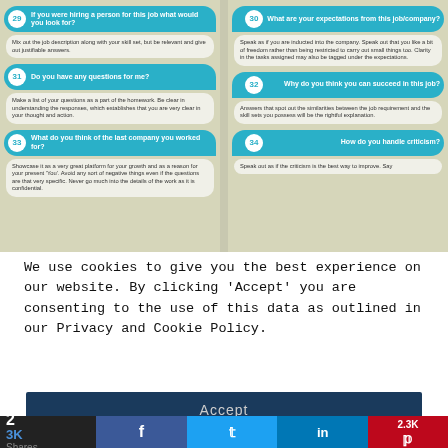[Figure (infographic): Interview questions infographic with numbered questions (29-34) arranged in two columns with teal bubble headers and light answer boxes. Q29: If you were hiring a person for this job what would you look for? Q30: What are your expectations from this job/company? Q31: Do you have any questions for me? Q32: Why do you think you can succeed in this job? Q33: What do you think of the last company you worked for? Q34: How do you handle criticism?]
We use cookies to give you the best experience on our website. By clicking 'Accept' you are consenting to the use of this data as outlined in our Privacy and Cookie Policy.
Accept
2 3K Shares f (facebook) (twitter) in (linkedin) 2.3K (pinterest)